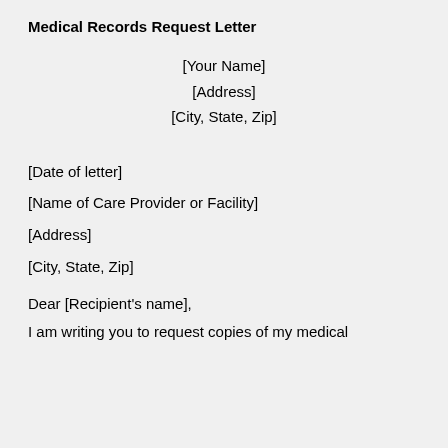Medical Records Request Letter
[Your Name]
[Address]
[City, State, Zip]
[Date of letter]
[Name of Care Provider or Facility]
[Address]
[City, State, Zip]
Dear [Recipient's name],
I am writing you to request copies of my medical